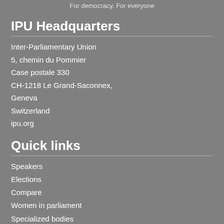For democracy. For everyone
IPU Headquarters
Inter-Parliamentary Union
5, chemin du Pommier
Case postale 330
CH-1218 Le Grand-Saconnex,
Geneva
Switzerland
ipu.org
Quick links
Speakers
Elections
Compare
Women in parliament
Specialized bodies
Explore
About
Explore